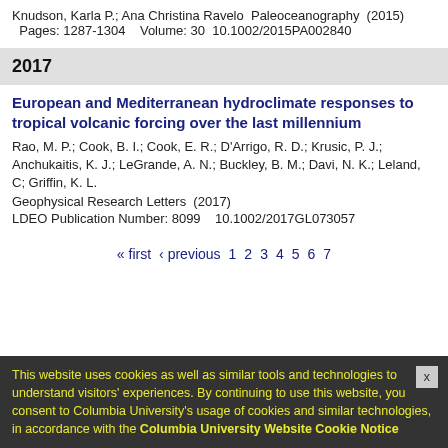Knudson, Karla P.; Ana Christina Ravelo  Paleoceanography  (2015)
Pages: 1287-1304    Volume: 30  10.1002/2015PA002840
2017
European and Mediterranean hydroclimate responses to tropical volcanic forcing over the last millennium
Rao, M. P.; Cook, B. I.; Cook, E. R.; D'Arrigo, R. D.; Krusic, P. J.; Anchukaitis, K. J.; LeGrande, A. N.; Buckley, B. M.; Davi, N. K.; Leland, C; Griffin, K. L.
Geophysical Research Letters  (2017)
LDEO Publication Number: 8099    10.1002/2017GL073057
« first  ‹ previous  1  2  3  4  5  6  7
This website uses cookies as well as similar tools and technologies to understand visitors' experiences. By continuing to use this website, you consent to Columbia University's usage of cookies and similar technologies, in accordance with the Columbia University Website Cookie Notice